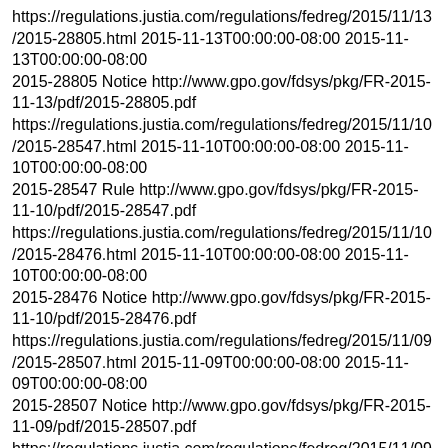https://regulations.justia.com/regulations/fedreg/2015/11/13/2015-28805.html 2015-11-13T00:00:00-08:00 2015-11-13T00:00:00-08:00
2015-28805 Notice http://www.gpo.gov/fdsys/pkg/FR-2015-11-13/pdf/2015-28805.pdf
https://regulations.justia.com/regulations/fedreg/2015/11/10/2015-28547.html 2015-11-10T00:00:00-08:00 2015-11-10T00:00:00-08:00
2015-28547 Rule http://www.gpo.gov/fdsys/pkg/FR-2015-11-10/pdf/2015-28547.pdf
https://regulations.justia.com/regulations/fedreg/2015/11/10/2015-28476.html 2015-11-10T00:00:00-08:00 2015-11-10T00:00:00-08:00
2015-28476 Notice http://www.gpo.gov/fdsys/pkg/FR-2015-11-10/pdf/2015-28476.pdf
https://regulations.justia.com/regulations/fedreg/2015/11/09/2015-28507.html 2015-11-09T00:00:00-08:00 2015-11-09T00:00:00-08:00
2015-28507 Notice http://www.gpo.gov/fdsys/pkg/FR-2015-11-09/pdf/2015-28507.pdf
https://regulations.justia.com/regulations/fedreg/2015/11/09/2015-28379.html 2015-11-09T00:00:00-08:00 2015-11-09T00:00:00-08:00
2015-28379 Proposed Rule http://www.gpo.gov/fdsys/pkg/FR-2015-11-09/pdf/2015-28379.pdf